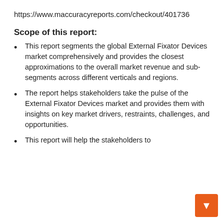https://www.maccuracyreports.com/checkout/401736
Scope of this report:
This report segments the global External Fixator Devices market comprehensively and provides the closest approximations to the overall market revenue and sub-segments across different verticals and regions.
The report helps stakeholders take the pulse of the External Fixator Devices market and provides them with insights on key market drivers, restraints, challenges, and opportunities.
This report will help the stakeholders to